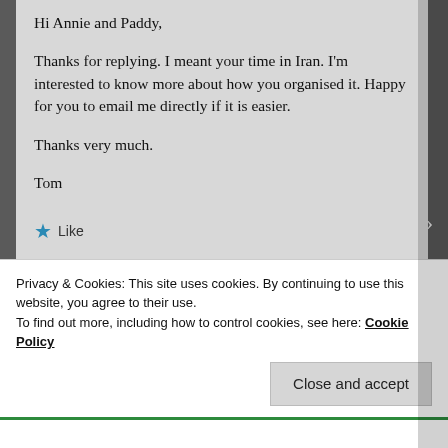Hi Annie and Paddy,
Thanks for replying. I meant your time in Iran. I'm interested to know more about how you organised it. Happy for you to email me directly if it is easier.
Thanks very much.
Tom
★ Like
Privacy & Cookies: This site uses cookies. By continuing to use this website, you agree to their use.
To find out more, including how to control cookies, see here: Cookie Policy
Close and accept